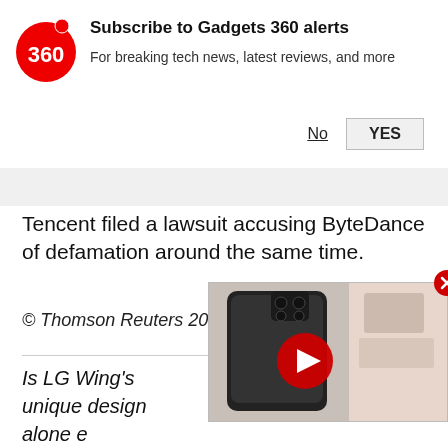[Figure (logo): Gadgets 360 logo — red circle with white '360' text and a red dot to the upper right]
Subscribe to Gadgets 360 alerts
For breaking tech news, latest reviews, and more
No   YES
Tencent filed a lawsuit accusing ByteDance of defamation around the same time.
© Thomson Reuters 2021
Is LG Wing's unique design alone enough to succeed in India? We discussed this on our weekly technology podcast, which you can subscribe to via Apple Podcasts, Google Podcasts, or RSS
[Figure (screenshot): Video thumbnail overlay showing a dark smartphone (Realme or similar) and a red play button, with a red close button in the top-right corner]